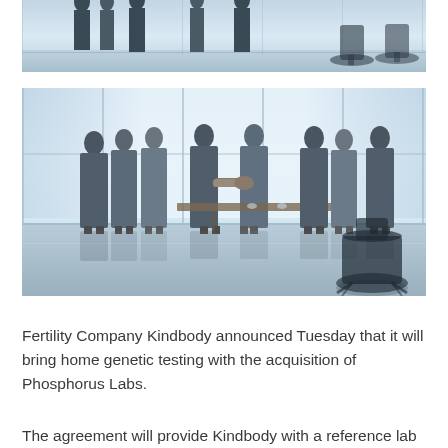[Figure (photo): Top portion of a business meeting photo showing silhouettes of people standing in a modern office with large windows and office chairs in the background]
[Figure (photo): Business people standing in a modern conference room with floor-to-ceiling windows; two people in the center are shaking hands across a conference table, with groups of colleagues on each side watching the handshake]
Fertility Company Kindbody announced Tuesday that it will bring home genetic testing with the acquisition of Phosphorus Labs.
The agreement will provide Kindbody with a reference lab